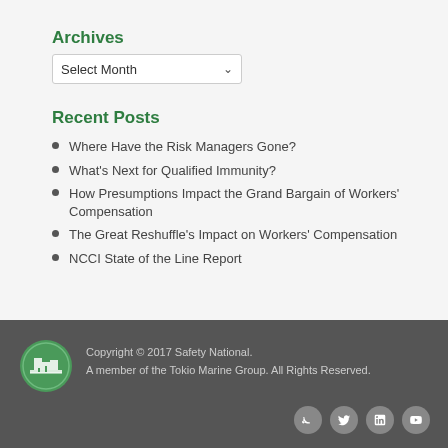Archives
Select Month
Recent Posts
Where Have the Risk Managers Gone?
What's Next for Qualified Immunity?
How Presumptions Impact the Grand Bargain of Workers' Compensation
The Great Reshuffle's Impact on Workers' Compensation
NCCI State of the Line Report
Copyright © 2017 Safety National. A member of the Tokio Marine Group. All Rights Reserved.